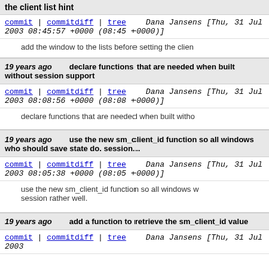the client list hint
commit | commitdiff | tree    Dana Jansens [Thu, 31 Jul 2003 08:45:57 +0000 (08:45 +0000)]
add the window to the lists before setting the clien
19 years ago    declare functions that are needed when built without session support
commit | commitdiff | tree    Dana Jansens [Thu, 31 Jul 2003 08:08:56 +0000 (08:08 +0000)]
declare functions that are needed when built witho
19 years ago    use the new sm_client_id function so all windows who should save state do. session...
commit | commitdiff | tree    Dana Jansens [Thu, 31 Jul 2003 08:05:38 +0000 (08:05 +0000)]
use the new sm_client_id function so all windows who should save state do. session rather well.
19 years ago    add a function to retrieve the sm_client_id value
commit | commitdiff | tree    Dana Jansens [Thu, 31 Jul 2003 08:04:30 +0000 (08:04 +0000)]